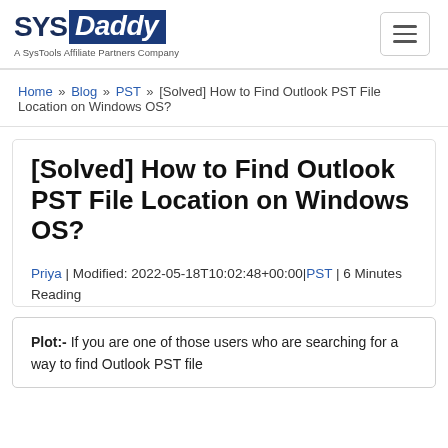SYSDaddy — A SysTools Affiliate Partners Company
Home » Blog » PST » [Solved] How to Find Outlook PST File Location on Windows OS?
[Solved] How to Find Outlook PST File Location on Windows OS?
Priya | Modified: 2022-05-18T10:02:48+00:00|PST | 6 Minutes Reading
Plot:- If you are one of those users who are searching for a way to find Outlook PST file